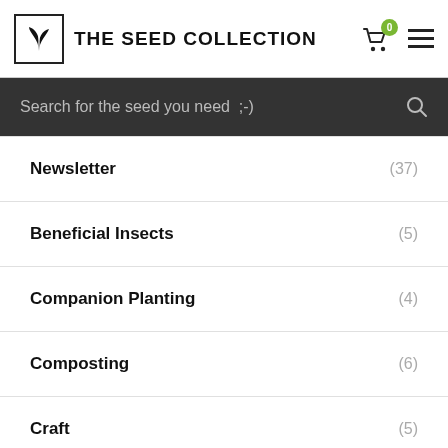THE SEED COLLECTION
Search for the seed you need  ;-)
Newsletter (37)
Beneficial Insects (5)
Companion Planting (4)
Composting (6)
Craft (5)
Fertiliser & Soil (14)